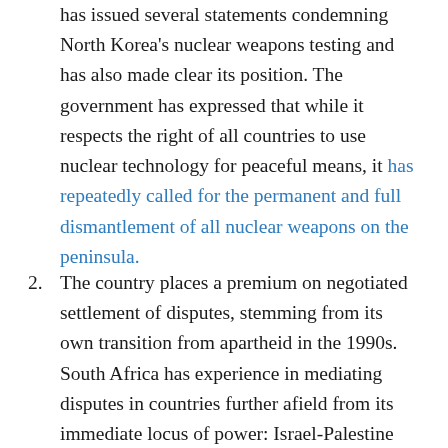has issued several statements condemning North Korea's nuclear weapons testing and has also made clear its position. The government has expressed that while it respects the right of all countries to use nuclear technology for peaceful means, it has repeatedly called for the permanent and full dismantlement of all nuclear weapons on the peninsula.
2. The country places a premium on negotiated settlement of disputes, stemming from its own transition from apartheid in the 1990s. South Africa has experience in mediating disputes in countries further afield from its immediate locus of power: Israel-Palestine